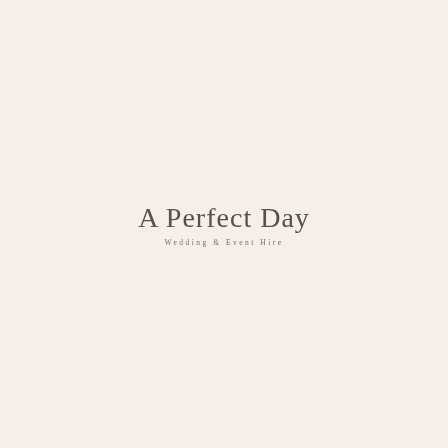[Figure (logo): A Perfect Day Wedding & Event Hire logo — script text 'A Perfect Day' in cursive above smaller text 'Wedding & Event Hire']